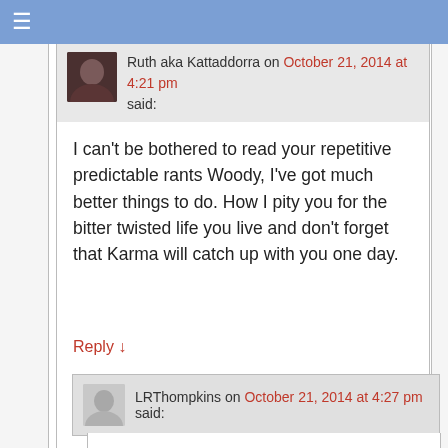≡
Ruth aka Kattaddorra on October 21, 2014 at 4:21 pm said:
I can't be bothered to read your repetitive predictable rants Woody, I've got much better things to do. How I pity you for the bitter twisted life you live and don't forget that Karma will catch up with you one day.
Reply ↓
LRThompkins on October 21, 2014 at 4:27 pm said:
Yes, stick your head up your ass so you can remain blissfully ignorant. As long as you do that I'll always have cats to shoot — in your honor and bliss-ninny's self-inflicted ignorance. LOL
I worry about cat-lickers who believe in Karma while they criminally and irresponsibly and negligently let their cats roam free to die hundreds